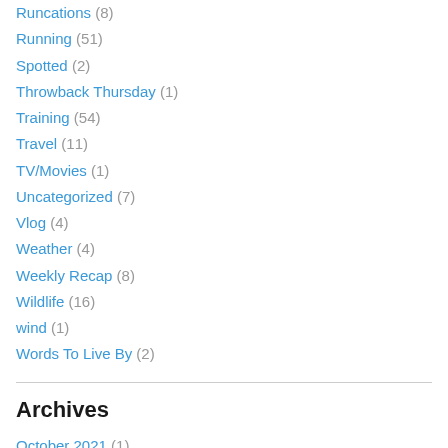Runcations (8)
Running (51)
Spotted (2)
Throwback Thursday (1)
Training (54)
Travel (11)
TV/Movies (1)
Uncategorized (7)
Vlog (4)
Weather (4)
Weekly Recap (8)
Wildlife (16)
wind (1)
Words To Live By (2)
Archives
October 2021 (1)
March 2018 (2)
February 2018 (2)